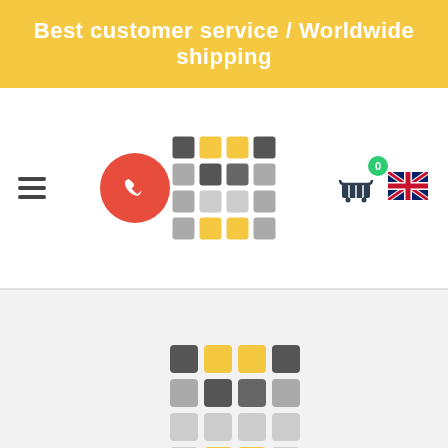Best customer service / Worldwide shipping
[Figure (logo): Red phone icon circle button in header]
[Figure (logo): Brand logo grid of colored squares in header]
[Figure (logo): Shopping cart icon with green badge showing 0]
[Figure (logo): UK flag icon]
[Figure (logo): Brand logo grid of colored squares in main content area]
info@marcusnmarcus.eu